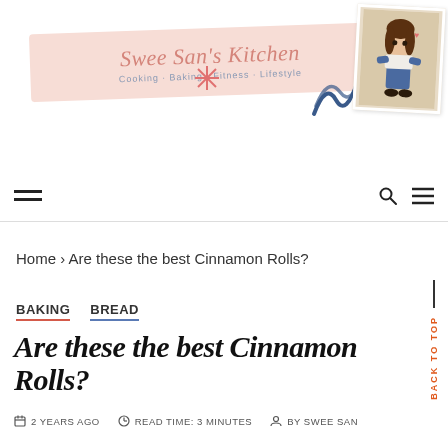[Figure (logo): Swee San's Kitchen blog header with pink banner, illustrated avatar in polaroid frame, decorative star doodles and blue scribble. Text reads: Swee San's Kitchen / Cooking · Baking · Fitness · Lifestyle]
Hamburger menu icon, search icon, and three-line menu icon in navigation bar
Home › Are these the best Cinnamon Rolls?
BAKING   BREAD
Are these the best Cinnamon Rolls?
2 YEARS AGO   READ TIME: 3 MINUTES   BY SWEE SAN